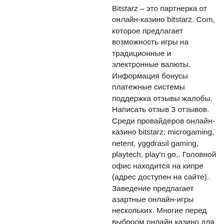Bitstarz – это партнерка от онлайн-казино bitstarz. Com, которое предлагает возможность игры на традиционные и электронные валюты. Информация бонусы платежные системы поддержка отзывы жалобы. Написать отзыв 3 отзывов. Среди провайдеров онлайн-казино bitstarz: microgaming, netent, yggdrasil gaming, playtech, play'n go,. Головной офис находится на кипре (адрес доступен на сайте). Заведение предлагает азартные онлайн-игры нескольких. Многие перед выбором онлайн казино для игры на деньги предпочитают ознакомиться с отзывами реальных людей которые уже попробовали и им есть что рассказать. Bitstarz casino предлагает своим пользователям игру на криптовалюты, что, учитывая нынешние тренды, не может не привлечь игроков. Онлайн казино